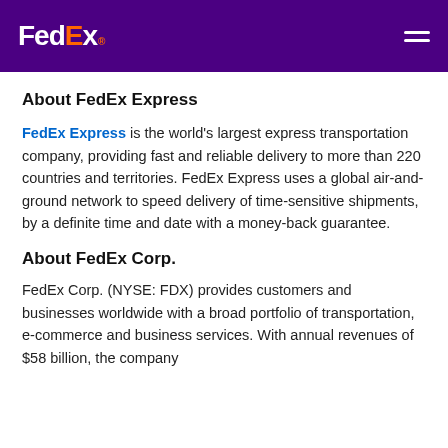FedEx
About FedEx Express
FedEx Express is the world's largest express transportation company, providing fast and reliable delivery to more than 220 countries and territories. FedEx Express uses a global air-and-ground network to speed delivery of time-sensitive shipments, by a definite time and date with a money-back guarantee.
About FedEx Corp.
FedEx Corp. (NYSE: FDX) provides customers and businesses worldwide with a broad portfolio of transportation, e-commerce and business services. With annual revenues of $58 billion, the company